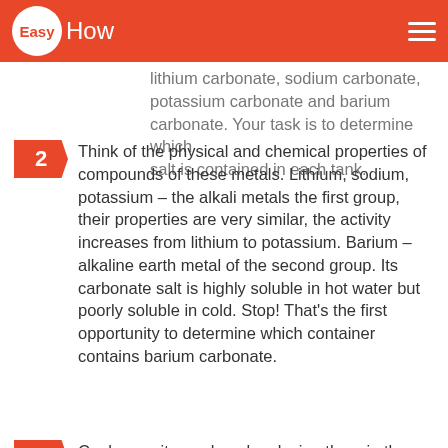EasyHow
lithium carbonate, sodium carbonate, potassium carbonate and barium carbonate. Your task is to determine which salt is contained in each tank.
2 Think of the physical and chemical properties of compounds of these metals. Lithium, sodium, potassium – the alkali metals the first group, their properties are very similar, the activity increases from lithium to potassium. Barium – alkaline earth metal of the second group. Its carbonate salt is highly soluble in hot water but poorly soluble in cold. Stop! That's the first opportunity to determine which container contains barium carbonate.
3 Cool capacity, such as by placing them in the vessel with ice. Three of the solution